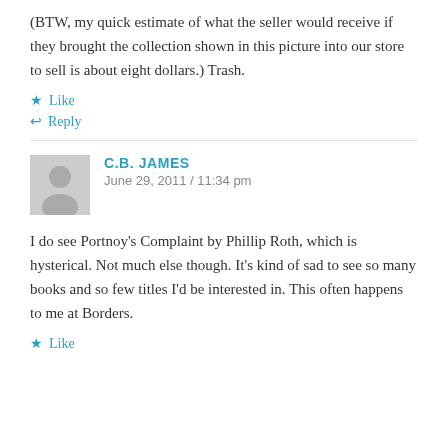(BTW, my quick estimate of what the seller would receive if they brought the collection shown in this picture into our store to sell is about eight dollars.) Trash.
★ Like
↩ Reply
C.B. JAMES
June 29, 2011 / 11:34 pm
I do see Portnoy's Complaint by Phillip Roth, which is hysterical. Not much else though. It's kind of sad to see so many books and so few titles I'd be interested in. This often happens to me at Borders.
★ Like